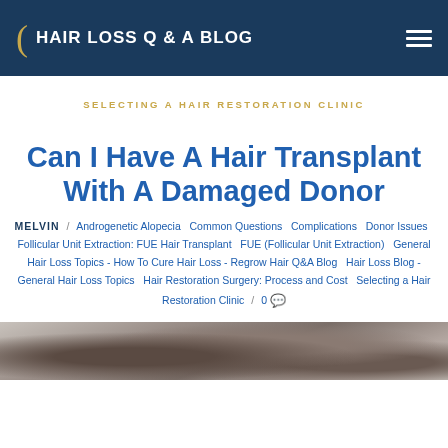HAIR LOSS Q & A BLOG
SELECTING A HAIR RESTORATION CLINIC
Can I Have A Hair Transplant With A Damaged Donor
MELVIN / Androgenetic Alopecia  Common Questions  Complications  Donor Issues  Follicular Unit Extraction: FUE Hair Transplant  FUE (Follicular Unit Extraction)  General Hair Loss Topics - How To Cure Hair Loss - Regrow Hair Q&A Blog  Hair Loss Blog - General Hair Loss Topics  Hair Restoration Surgery: Process and Cost  Selecting a Hair Restoration Clinic / 0
[Figure (photo): Close-up photo of a scalp showing hair transplant donor area with visible hair follicles and skin texture]